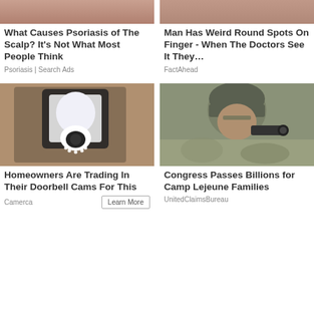[Figure (photo): Close-up photo related to psoriasis of the scalp]
[Figure (photo): Close-up photo of weird round spots on finger]
What Causes Psoriasis of The Scalp? It’s Not What Most People Think
Psoriasis | Search Ads
Man Has Weird Round Spots On Finger - When The Doctors See It They…
FactAhead
[Figure (photo): Photo of a security camera light bulb mounted on a wall lantern]
[Figure (photo): Photo of a soldier in combat gear looking through a scope]
Homeowners Are Trading In Their Doorbell Cams For This
Camerca
Congress Passes Billions for Camp Lejeune Families
UnitedClaimsBureau